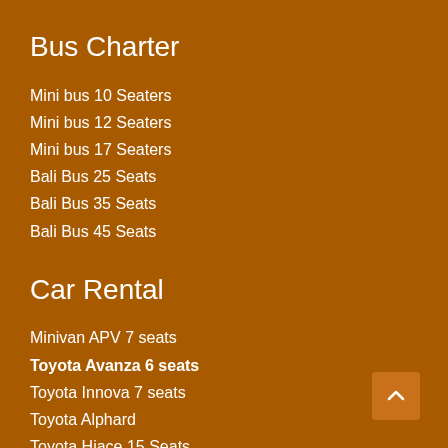Bus Charter
Mini bus 10 Seaters
Mini bus 12 Seaters
Mini bus 17 Seaters
Bali Bus 25 Seats
Bali Bus 35 Seats
Bali Bus 45 Seats
Car Rental
Minivan APV 7 seats
Toyota Avanza 6 seats
Toyota Innova 7 seats
Toyota Alphard
Toyota Hiace 15 Seats
Luxury Vehicle Rental